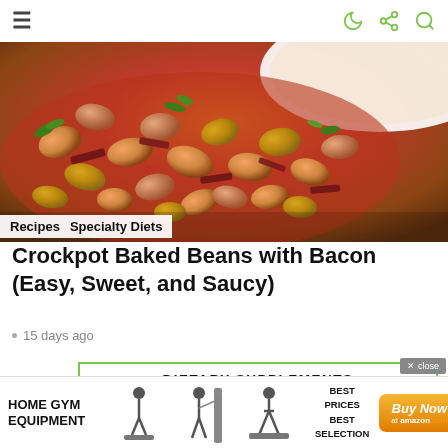≡ [hamburger menu] | [moon icon] [share icon] [search icon]
[Figure (photo): Close-up photo of crockpot baked beans with bacon and green herbs in a white bowl]
Recipes  Specialty Diets
Crockpot Baked Beans with Bacon (Easy, Sweet, and Saucy)
• 15 days ago
[Figure (infographic): Dietary Supplements advertisement banner with text 'DIETARY SUPPLEMENTS BEST PRICES with BEST SELECTION' and images of supplement bottles including whey protein]
[Figure (infographic): Bottom banner ad: HOME GYM EQUIPMENT with gym equipment images, BEST PRICES BEST SELECTION, and Buy Now at amazon.com orange button]